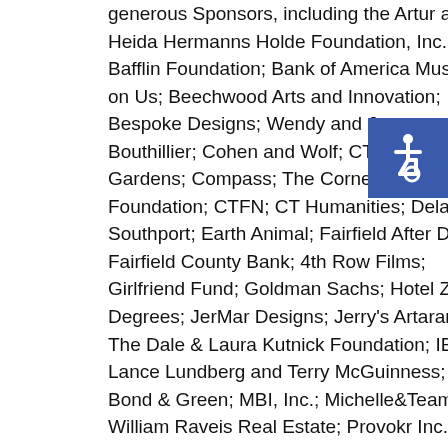MoCA Westport is also thankful for the dedication of its generous Sponsors, including the Artur and Heida Hermanns Holde Foundation, Inc.; The Bafflin Foundation; Bank of America Museums on Us; Beechwood Arts and Innovation; Bespoke Designs; Wendy and Jacques Bouthillier; Cohen and Wolf; CT Cottages & Gardens; Compass; The Cornelia T. Bailey Foundation; CTFN; CT Humanities; Delamar Southport; Earth Animal; Fairfield After Dark; Fairfield County Bank; 4th Row Films; Girlfriend Fund; Goldman Sachs; Hotel Zero Degrees; JerMar Designs; Jerry's Artarama; The Dale & Laura Kutnick Foundation; IBM; Lance Lundberg and Terry McGuinness; Lux Bond & Green; MBI, Inc.; Michelle&Team at William Raveis Real Estate; Provokr Inc.; Rena Levine Textiles + Wallcoverings; Ring's End; R13; The Russell Agency; Shaken & Stirred; Susan Leone Habitats
[Figure (infographic): Accessibility icon: white wheelchair symbol on blue background square]